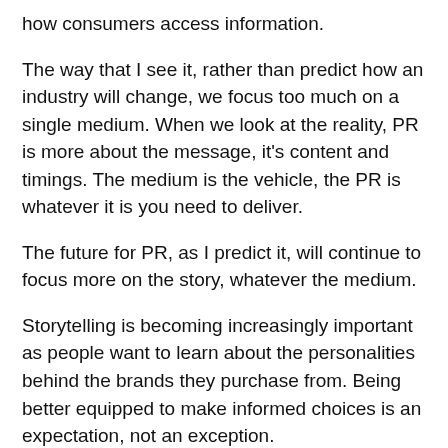how consumers access information.
The way that I see it, rather than predict how an industry will change, we focus too much on a single medium. When we look at the reality, PR is more about the message, it's content and timings. The medium is the vehicle, the PR is whatever it is you need to deliver.
The future for PR, as I predict it, will continue to focus more on the story, whatever the medium.
Storytelling is becoming increasingly important as people want to learn about the personalities behind the brands they purchase from. Being better equipped to make informed choices is an expectation, not an exception.
With the more mindful shopper comes the need to share. The challenge arrives when businesses are expected to put pen to paper. Messages need to be concise, copy compelling and sharing consistent. The tone needs to be